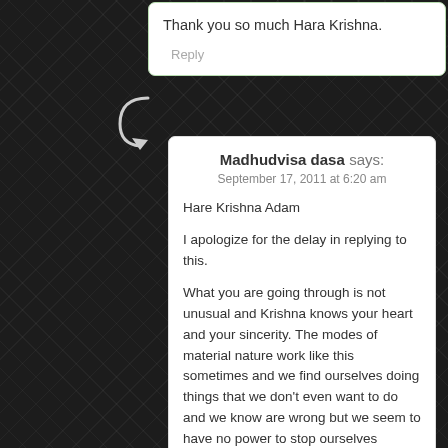Thank you so much Hara Krishna.
Reply
Madhudvisa dasa says:
September 17, 2011 at 6:20 am
Hare Krishna Adam
I apologize for the delay in replying to this.
What you are going through is not unusual and Krishna knows your heart and your sincerity. The modes of material nature work like this sometimes and we find ourselves doing things that we don't even want to do and we know are wrong but we seem to have no power to stop ourselves